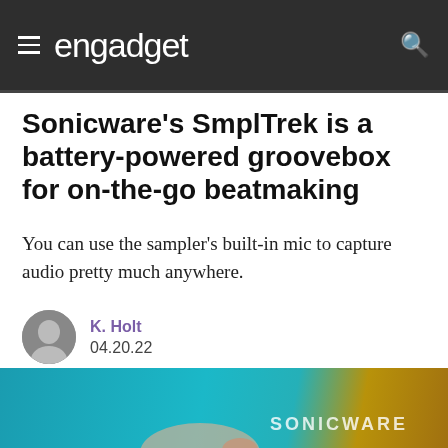engadget
Sonicware's SmplTrek is a battery-powered groovebox for on-the-go beatmaking
You can use the sampler's built-in mic to capture audio pretty much anywhere.
K. Holt
04.20.22
[Figure (photo): Photo of a hand holding the Sonicware SmplTrek device, a dark teal groovebox with 'SONICWARE' branding visible.]